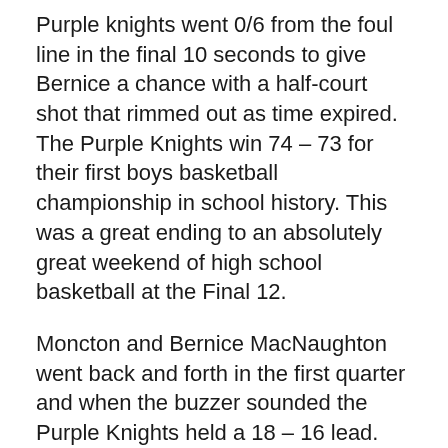Purple knights went 0/6 from the foul line in the final 10 seconds to give Bernice a chance with a half-court shot that rimmed out as time expired. The Purple Knights win 74 – 73 for their first boys basketball championship in school history. This was a great ending to an absolutely great weekend of high school basketball at the Final 12.
Moncton and Bernice MacNaughton went back and forth in the first quarter and when the buzzer sounded the Purple Knights held a 18 – 16 lead. The next ten minutes would be very close as well but Moncton outscored the Highlanders 17 – 14 in the period to give themselves a 35 – 30 lead at halftime.
The closeness of this game continued in the third quarter as Moncton scored 18 more points and the Highlanders added 17. With 10 minutes left to go,